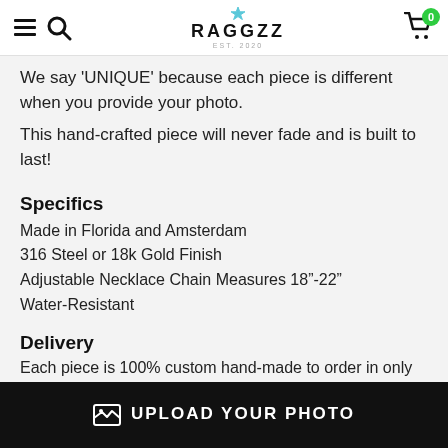RAGGZZ
We say 'UNIQUE' because each piece is different when you provide your photo.
This hand-crafted piece will never fade and is built to last!
Specifics
Made in Florida and Amsterdam
316 Steel or 18k Gold Finish
Adjustable Necklace Chain Measures 18"-22"
Water-Resistant
Delivery
Each piece is 100% custom hand-made to order in only 3-5 business days!
UPLOAD YOUR PHOTO